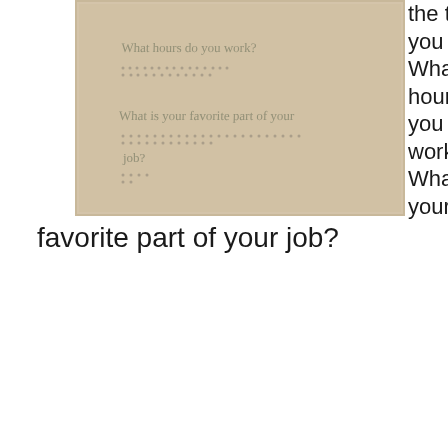[Figure (photo): A photograph of a beige/tan paper with handwritten text in pencil. The handwriting reads: 'What hours do you work?' and below it 'What is your favorite part of your job?' with braille-like dots visible below each line of text.]
the tools you use? What hours do you work? What is your
favorite part of your job?